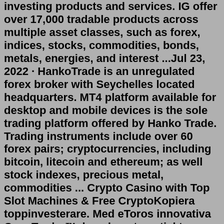investing products and services. IG offer over 17,000 tradable products across multiple asset classes, such as forex, indices, stocks, commodities, bonds, metals, energies, and interest ...Jul 23, 2022 · HankoTrade is an unregulated forex broker with Seychelles located headquarters. MT4 platform available for desktop and mobile devices is the sole trading platform offered by Hanko Trade. Trading instruments include over 60 forex pairs; cryptocurrencies, including bitcoin, litecoin and ethereum; as well stock indexes, precious metal, commodities ... Crypto Casino with Top Slot Machines & Free CryptoKopiera toppinvesterare. Med eToros innovativa CopyTrader™, kan du automatiskt kopiera andra investerares beslut. Hitta investerare som du tror på och kopiera deras investeringar i realtid. Copy Trading ska inte tas som investeringsrådgivning.Oanda is a US-based forex broker founded in 1996. It is a private company and therefore not listed on any stock exchange. Oanda operates via several entities worldwide and is